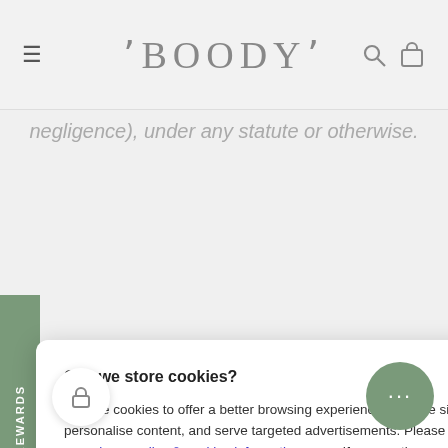BOODY
negligence), under any statute or otherwise.
Boody to the contrary n seven (147) days of s and such notification is confirmed by return email within fourteenseven (147) days of its re by Boody, the Products shall be deemed have been received by you.
Can we store cookies?
We use cookies to offer a better browsing experience, analyse site traffic, personalise content, and serve targeted advertisements. Please review our privacy policy & cookies information page. If you continue you consent to our privacy policy & use of cookies.
Customize  No  Yes